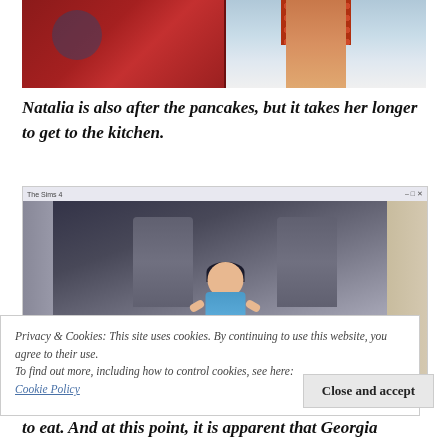[Figure (screenshot): Top portion of a Sims 4 game screenshot showing a red sofa with a paw print pattern and character legs in red patterned pants on the right side, on a light floor.]
Natalia is also after the pancakes, but it takes her longer to get to the kitchen.
[Figure (screenshot): Sims 4 game screenshot showing a toddler character in a blue swimsuit standing with arms outstretched in a game room with stone statues in the background. Screenshot has a title bar at the top.]
Privacy & Cookies: This site uses cookies. By continuing to use this website, you agree to their use.
To find out more, including how to control cookies, see here:
Cookie Policy
to eat.  And at this point, it is apparent that Georgia